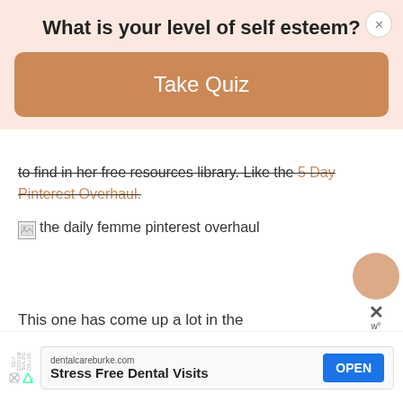What is your level of self esteem?
Take Quiz
to find in her free resources library. Like the 5 Day Pinterest Overhaul.
[Figure (photo): Broken image placeholder with alt text: the daily femme pinterest overhaul]
This one has come up a lot in the
dentalcareburke.com Stress Free Dental Visits OPEN